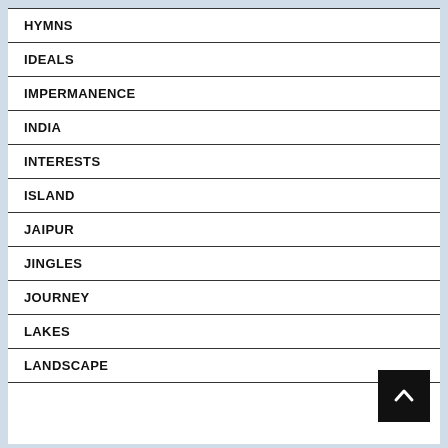HYMNS
IDEALS
IMPERMANENCE
INDIA
INTERESTS
ISLAND
JAIPUR
JINGLES
JOURNEY
LAKES
LANDSCAPE